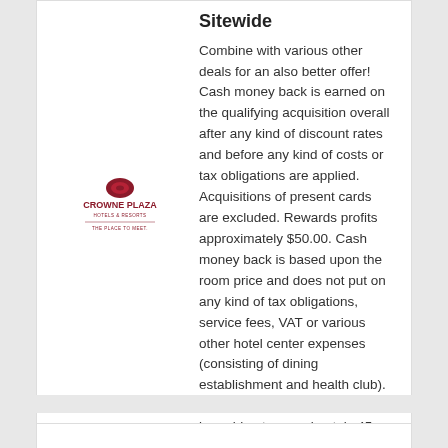Sitewide
[Figure (logo): Crowne Plaza Hotels & Resorts — The Place to Meet logo]
Combine with various other deals for an also better offer! Cash money back is earned on the qualifying acquisition overall after any kind of discount rates and before any kind of costs or tax obligations are applied. Acquisitions of present cards are excluded. Rewards profits approximately $50.00. Cash money back is based upon the room price and does not put on any kind of tax obligations, service fees, VAT or various other hotel center expenses (consisting of dining establishment and health club). Cash money back will certainly be paid out approximately 45 days after completed remain. Rewards profits not to exceed $50.00.
Sale: Get Deal (40 People Used)
Heathrow Express As much as 75%